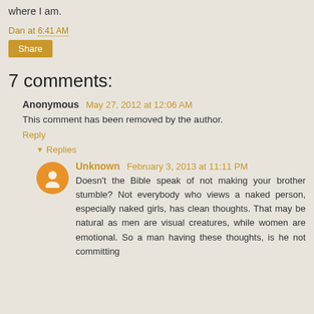where I am.
Dan at 6:41 AM
Share
7 comments:
Anonymous May 27, 2012 at 12:06 AM
This comment has been removed by the author.
Reply
▼ Replies
Unknown February 3, 2013 at 11:11 PM
Doesn't the Bible speak of not making your brother stumble? Not everybody who views a naked person, especially naked girls, has clean thoughts. That may be natural as men are visual creatures, while women are emotional. So a man having these thoughts, is he not committing